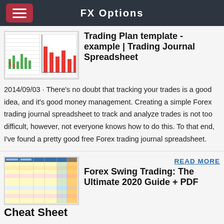FX Options
[Figure (screenshot): Thumbnail image of a trading journal spreadsheet with bar charts and data tables]
Trading Plan template - example | Trading Journal Spreadsheet
2014/09/03 · There's no doubt that tracking your trades is a good idea, and it's good money management. Creating a simple Forex trading journal spreadsheet to track and analyze trades is not too difficult, however, not everyone knows how to do this. To that end, I've found a pretty good free Forex trading journal spreadsheet.
READ MORE
[Figure (screenshot): Thumbnail image of a colorful forex trading spreadsheet with yellow, pink, blue rows and columns]
Forex Swing Trading: The Ultimate 2020 Guide + PDF Cheat Sheet
have forex trading experience: when you buy the currency of your destination country while paying with your own currency, that is forex trading. Forex traders buy and sell currencies for profit or to